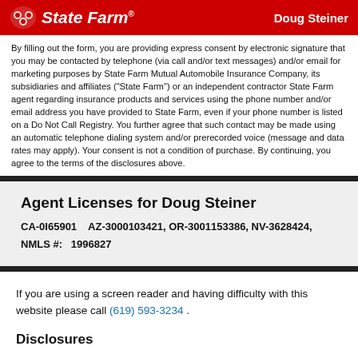State Farm — Doug Steiner
By filling out the form, you are providing express consent by electronic signature that you may be contacted by telephone (via call and/or text messages) and/or email for marketing purposes by State Farm Mutual Automobile Insurance Company, its subsidiaries and affiliates ("State Farm") or an independent contractor State Farm agent regarding insurance products and services using the phone number and/or email address you have provided to State Farm, even if your phone number is listed on a Do Not Call Registry. You further agree that such contact may be made using an automatic telephone dialing system and/or prerecorded voice (message and data rates may apply). Your consent is not a condition of purchase. By continuing, you agree to the terms of the disclosures above.
Agent Licenses for Doug Steiner
CA-0I65901    AZ-3000103421, OR-3001153386, NV-3628424, NMLS #:   1996827
If you are using a screen reader and having difficulty with this website please call (619) 593-3234 .
Disclosures